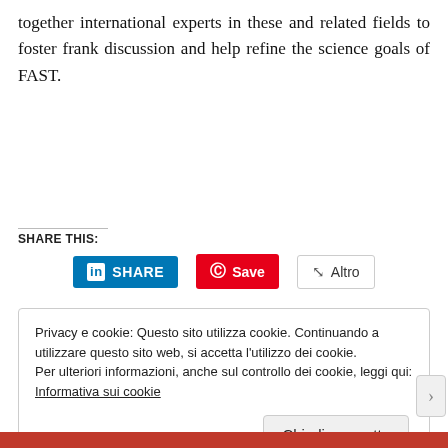together international experts in these and related fields to foster frank discussion and help refine the science goals of FAST.
SHARE THIS:
[Figure (other): Social sharing buttons: LinkedIn SHARE, Pinterest Save, and Altro (Other)]
Privacy e cookie: Questo sito utilizza cookie. Continuando a utilizzare questo sito web, si accetta l'utilizzo dei cookie.
Per ulteriori informazioni, anche sul controllo dei cookie, leggi qui:
Informativa sui cookie
Chiudi e accetta